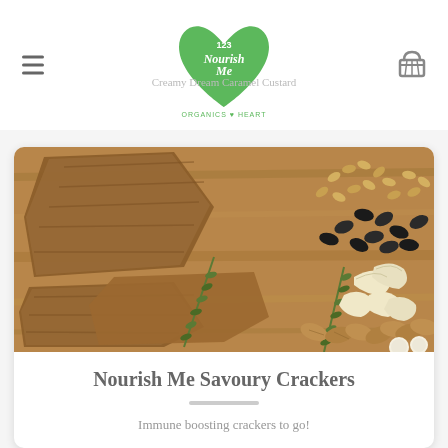123 Nourish Me Organics with Heart
Creamy Dream Caramel Custard
[Figure (photo): Photo of savoury crackers broken into pieces on a wooden board, alongside mixed nuts (cashews, almonds, pumpkin seeds, sunflower seeds) and sprigs of rosemary]
Nourish Me Savoury Crackers
Immune boosting crackers to go!